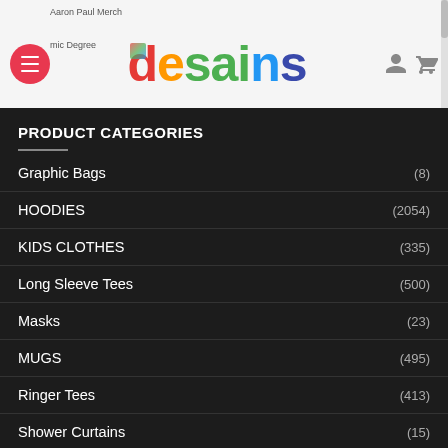[Figure (screenshot): Website header with hamburger menu button, 'desains' logo in multicolor text, and user/cart icons. Small text 'Aaron Paul Merch' and 'mic Degree' visible.]
PRODUCT CATEGORIES
Graphic Bags (8)
HOODIES (2054)
KIDS CLOTHES (335)
Long Sleeve Tees (500)
Masks (23)
MUGS (495)
Ringer Tees (413)
Shower Curtains (15)